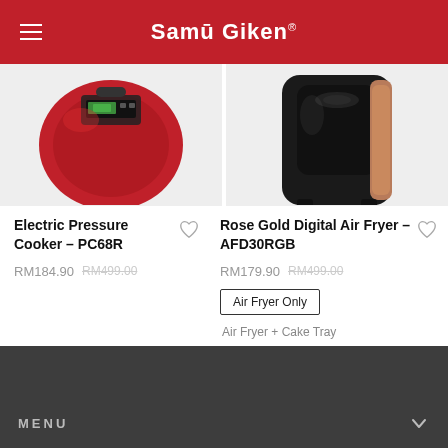Samu Giken
[Figure (photo): Partial top view of a red Electric Pressure Cooker on a light gray background]
[Figure (photo): Partial top view of a Rose Gold Digital Air Fryer (black with copper/rose gold accents) on a light gray background]
Electric Pressure Cooker – PC68R
RM184.90  RM499.00
Rose Gold Digital Air Fryer – AFD30RGB
RM179.90  RM499.00
Air Fryer Only
Air Fryer + Cake Tray
MENU